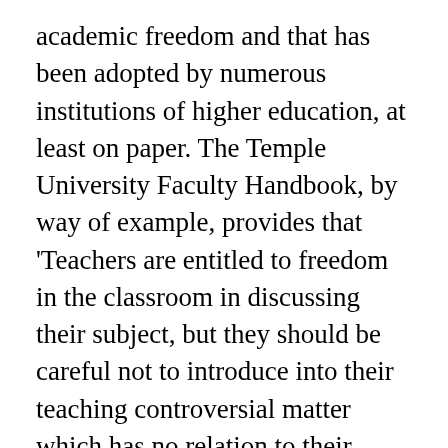academic freedom and that has been adopted by numerous institutions of higher education, at least on paper. The Temple University Faculty Handbook, by way of example, provides that 'Teachers are entitled to freedom in the classroom in discussing their subject, but they should be careful not to introduce into their teaching controversial matter which has no relation to their subject.'
Notwithstanding these principles, our survey found that a shocking 49 percent of the students at the top 50 colleges and universities say that their professors frequently injected political comments into their courses, even if they had nothing to do